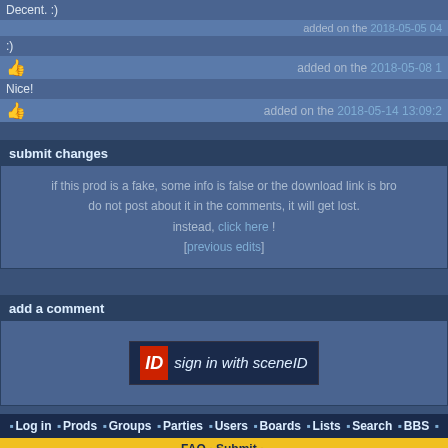Decent. :)
added on the 2018-05-05 04...
:)
added on the 2018-05-08 1...
Nice!
added on the 2018-05-14 13:09:2...
submit changes
if this prod is a fake, some info is false or the download link is broken, do not post about it in the comments, it will get lost. instead, click here ! [previous edits]
add a comment
[Figure (logo): Sign in with SceneID button]
Log in · Prods · Groups · Parties · Users · Boards · Lists · Search · BBS
FAQ · Submit
switch to mobile version
pouët.net 2.0 © 2000-2022 mandarine - hosted on scene.org - follow us on twitter and facebook - join us on discord and irc
send comments and bug reports to webmaster@pouet.net or github
page created in 0.008740 seconds.